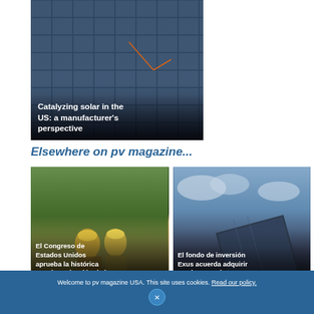[Figure (photo): Close-up photo of solar panels being installed, with a person visible working on them. Dark blue and grey tones.]
Catalyzing solar in the US: a manufacturer's perspective
Elsewhere on pv magazine...
[Figure (photo): Workers in yellow hard hats inspecting a solar farm with green hills in the background.]
El Congreso de Estados Unidos aprueba la histórica Ley de Reducción de la Inflación
[Figure (photo): Solar panels against a dramatic cloudy sky, taken from a low angle.]
El fondo de inversión Exus acuerda adquirir 20 plantas solares en Piauí, Brasil, que
Welcome to pv magazine USA. This site uses cookies. Read our policy.